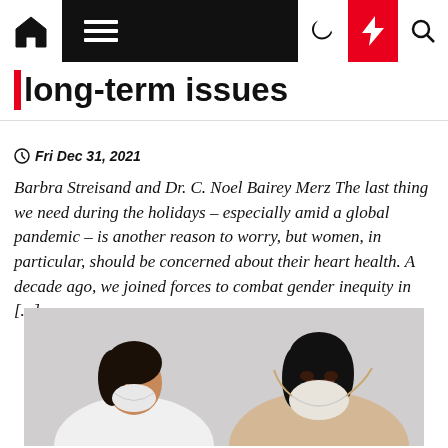long-term issues
Fri Dec 31, 2021
Barbra Streisand and Dr. C. Noel Bairey Merz The last thing we need during the holidays – especially amid a global pandemic – is another reason to worry, but women, in particular, should be concerned about their heart health.  A decade ago, we joined forces to combat gender inequity in [...]
[Figure (photo): Two women wearing face masks, one appears to be a healthcare worker in a white coat leaning forward, the other is a patient wearing an N95 mask.]